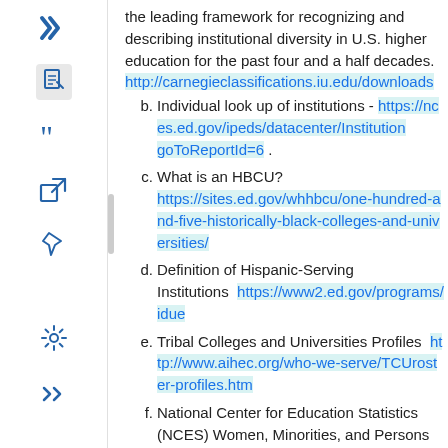the leading framework for recognizing and describing institutional diversity in U.S. higher education for the past four and a half decades. http://carnegieclassifications.iu.edu/downloads
b. Individual look up of institutions - https://nces.ed.gov/ipeds/datacenter/InstitutionList.aspx?goToReportId=6 .
c. What is an HBCU? https://sites.ed.gov/whhbcu/one-hundred-and-five-historically-black-colleges-and-universities/
d. Definition of Hispanic-Serving Institutions https://www2.ed.gov/programs/idue
e. Tribal Colleges and Universities Profiles http://www.aihec.org/who-we-serve/TCUroster-profiles.htm
f. National Center for Education Statistics (NCES) Women, Minorities, and Persons with Disabilities in Science and Engineering 2017 Report https://nsf.gov/statistics/2017/nsf17310/digest/
g. National Center for Education Statistics